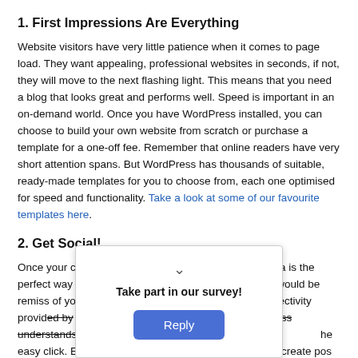1. First Impressions Are Everything
Website visitors have very little patience when it comes to page load. They want appealing, professional websites in seconds, if not, they will move to the next flashing light. This means that you need a blog that looks great and performs well. Speed is important in an on-demand world. Once you have WordPress installed, you can choose to build your own website from scratch or purchase a template for a one-off fee. Remember that online readers have very short attention spans. But WordPress has thousands of suitable, ready-made templates for you to choose from, each one optimised for speed and functionality. Take a look at some of our favourite templates here.
2. Get Social!
Once your creative blog is ready for action, social media is the perfect way to get the word out. As a social creature it would be remiss of you if you failed to tap into the ocean of connectivity provided by Facebook, Instagram and Twitter. WordPress understands this … avenue and make … he easy click. Easy … visitors to create pos…
Take part in our survey!